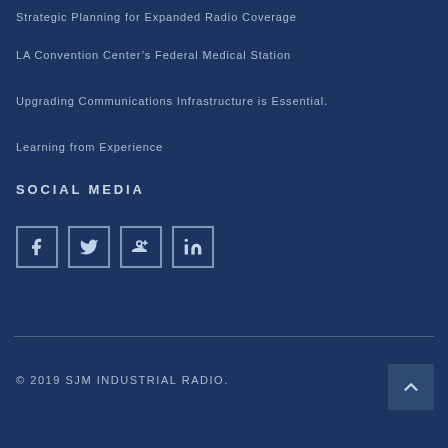Strategic Planning for Expanded Radio Coverage
LA Convention Center's Federal Medical Station
Upgrading Communications Infrastructure is Essential.
Learning from Experience
SOCIAL MEDIA
[Figure (other): Social media icons: Facebook, Twitter, Google+, LinkedIn]
© 2019 SJM INDUSTRIAL RADIO.